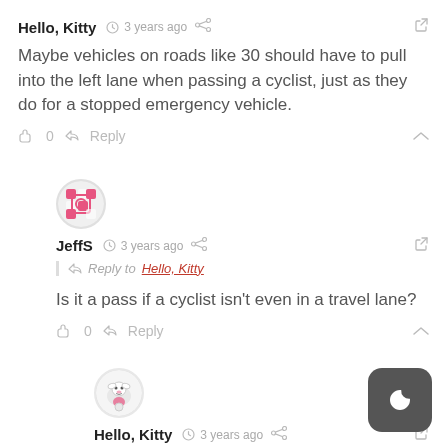Hello, Kitty  3 years ago
Maybe vehicles on roads like 30 should have to pull into the left lane when passing a cyclist, just as they do for a stopped emergency vehicle.
0  Reply
[Figure (illustration): Pink avatar icon for JeffS]
JeffS  3 years ago
Reply to Hello, Kitty
Is it a pass if a cyclist isn't even in a travel lane?
0  Reply
[Figure (illustration): Hello Kitty avatar icon]
Hello, Kitty  3 years ago